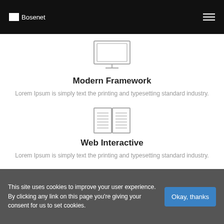Bosenet
[Figure (illustration): Monitor/desktop computer icon, outline style in gray]
Modern Framework
Lorem Ipsum is simply text the printing and typesetting standard industry.
[Figure (illustration): Open book icon, outline style in gray with horizontal lines representing text]
Web Interactive
Lorem Ipsum is simply text the printing and typesetting standard industry.
[Figure (illustration): Gift box icon, partially visible, outline style in gray]
This site uses cookies to improve your user experience. By clicking any link on this page you're giving your consent for us to set cookies.